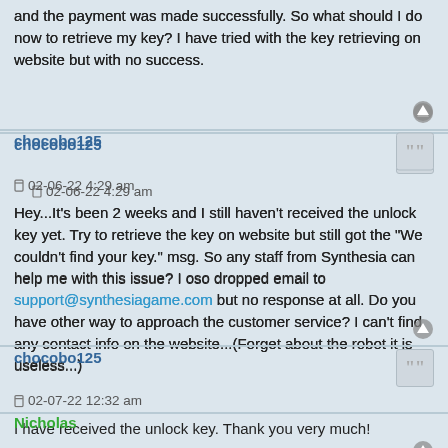and the payment was made successfully. So what should I do now to retrieve my key? I have tried with the key retrieving on website but with no success.
chocobo125
02-06-22 4:29 am
Hey...It's been 2 weeks and I still haven't received the unlock key yet. Try to retrieve the key on website but still got the "We couldn't find your key." msg. So any staff from Synthesia can help me with this issue? I oso dropped email to support@synthesiagame.com but no response at all. Do you have other way to approach the customer service? I can't find any contact info on the website...(Forget about the robot it is useless...)
chocobo125
02-07-22 12:32 am
I have received the unlock key. Thank you very much!
Nicholas